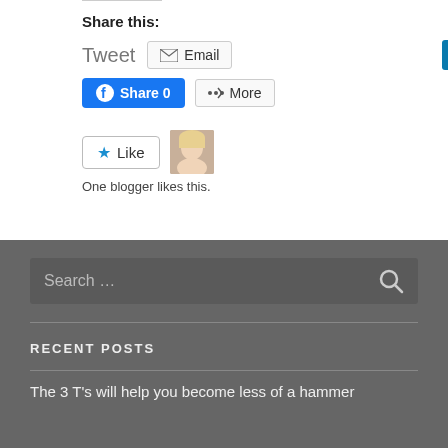Share this:
[Figure (screenshot): Social sharing buttons: Tweet, Email, LinkedIn Share, Facebook Share 0, More]
[Figure (screenshot): Like button with star icon and blogger avatar thumbnail]
One blogger likes this.
[Figure (screenshot): Search bar with placeholder text 'Search ...' and magnifying glass icon]
RECENT POSTS
The 3 T's will help you become less of a hammer